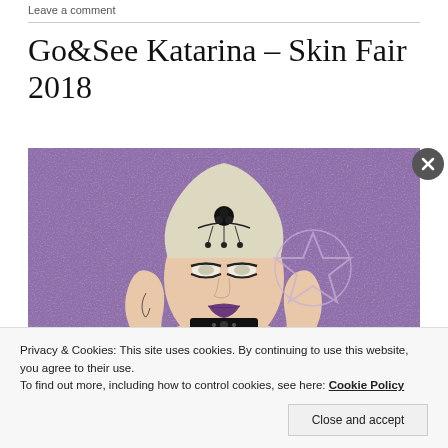Leave a comment
Go&See Katarina – Skin Fair 2018
[Figure (photo): Digital avatar of a pale-skinned female character with blonde hair, dark eye makeup, black nails, purple lipstick, wearing a black choker and pentagram jewelry, tattooed body, against a purple textured background. Text at bottom reads: WHY DON'T YOU KNOW]
Privacy & Cookies: This site uses cookies. By continuing to use this website, you agree to their use.
To find out more, including how to control cookies, see here: Cookie Policy
Close and accept